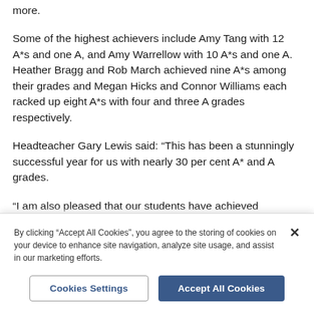more.
Some of the highest achievers include Amy Tang with 12 A*s and one A, and Amy Warrellow with 10 A*s and one A. Heather Bragg and Rob March achieved nine A*s among their grades and Megan Hicks and Connor Williams each racked up eight A*s with four and three A grades respectively.
Headteacher Gary Lewis said: “This has been a stunningly successful year for us with nearly 30 per cent A* and A grades.
“I am also pleased that our students have achieved
By clicking “Accept All Cookies”, you agree to the storing of cookies on your device to enhance site navigation, analyze site usage, and assist in our marketing efforts.